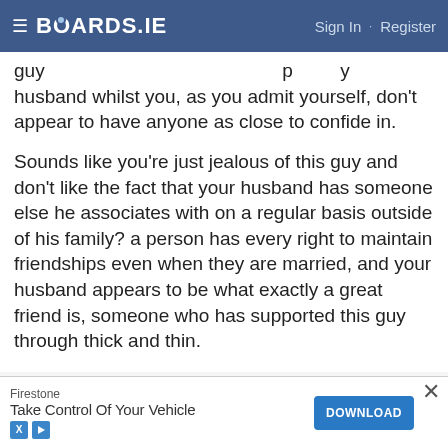BOARDS.IE  Sign In · Register
guy ... husband whilst you, as you admit yourself, don't appear to have anyone as close to confide in.
Sounds like you're just jealous of this guy and don't like the fact that your husband has someone else he associates with on a regular basis outside of his family? a person has every right to maintain friendships even when they are married, and your husband appears to be what exactly a great friend is, someone who has supported this guy through thick and thin.
Also, just because you have a snobby family and a gossipy sister who looks down on this guy doesn't mean they're right or that your husband is actually gay. Do
[Figure (screenshot): Advertisement banner: Firestone 'Take Control Of Your Vehicle' with DOWNLOAD button]